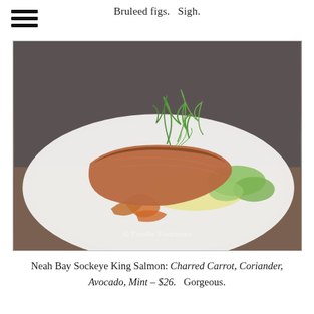Bruleed figs.  Sigh.
[Figure (photo): A plated dish of seared salmon on a white plate with charred carrots, green avocado purée, and fennel fronds garnish. Watermark reads © Foodie Footnotes.]
Neah Bay Sockeye King Salmon: Charred Carrot, Coriander, Avocado, Mint – $26.  Gorgeous.